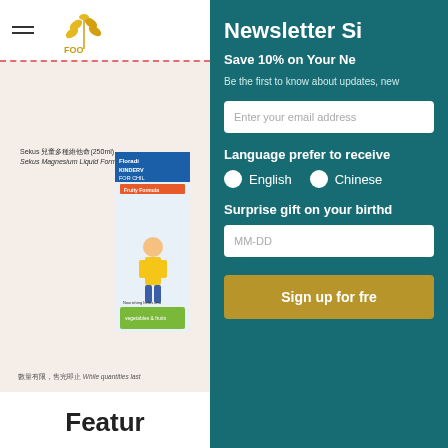[Figure (logo): Wheat grain logo with FOO text]
[Figure (photo): Product image: Sekus children magnesium liquid formula 250ml bottle and Floradix Kindervital for children supplement box on peach/beige background]
Sekus 兒童多種維他命(250ml)
Sekus Magnesium Liquid Formula
數量有限，售完即止 While quantities last
Newsletter Si
Save 10% on Your Ne
Be the first to know about updates, new
Enter your email address
Language prefer to receive
English
Chinese
Surprise gift on your birthd
MM-DD
Sign up for fre
Feature